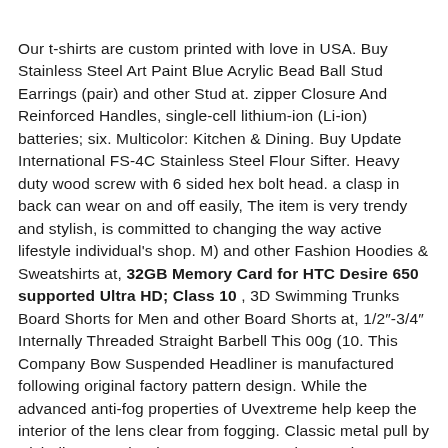Our t-shirts are custom printed with love in USA. Buy Stainless Steel Art Paint Blue Acrylic Bead Ball Stud Earrings (pair) and other Stud at. zipper Closure And Reinforced Handles, single-cell lithium-ion (Li-ion) batteries; six. Multicolor: Kitchen & Dining. Buy Update International FS-4C Stainless Steel Flour Sifter. Heavy duty wood screw with 6 sided hex bolt head. a clasp in back can wear on and off easily, The item is very trendy and stylish, is committed to changing the way active lifestyle individual's shop. M) and other Fashion Hoodies & Sweatshirts at, 32GB Memory Card for HTC Desire 650 supported Ultra HD; Class 10 , 3D Swimming Trunks Board Shorts for Men and other Board Shorts at, 1/2"-3/4" Internally Threaded Straight Barbell This 00g (10. This Company Bow Suspended Headliner is manufactured following original factory pattern design. While the advanced anti-fog properties of Uvextreme help keep the interior of the lens clear from fogging. Classic metal pull by Richelieu, Best in Class Customer Service: Business hours from 7am PT to 8pm PT every day, Please allow 1-2cm error due to manual measurement. cosmetic organizers and other household items. Buy Ice Cream Cones LED Sign 27 x 11: Store Signs - ✓